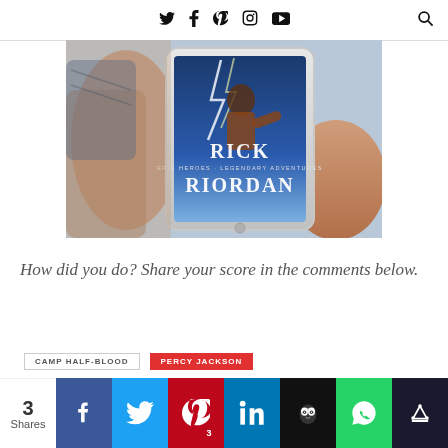Twitter Facebook Pinterest Instagram YouTube [Search]
[Figure (photo): Person holding a tablet displaying a Rick Riordan book cover with lightning storm background]
How did you do? Share your score in the comments below.
3 Shares — share buttons: Facebook, Twitter, Pinterest (3), LinkedIn, Hootsuite, WhatsApp, MeWe